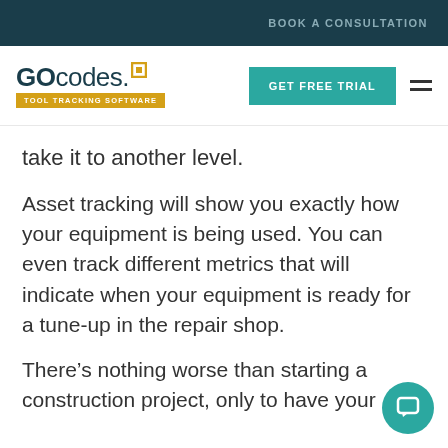BOOK A CONSULTATION
[Figure (logo): GoCodes Tool Tracking Software logo with teal square icon and yellow tagline bar]
take it to another level.
Asset tracking will show you exactly how your equipment is being used. You can even track different metrics that will indicate when your equipment is ready for a tune-up in the repair shop.
There’s nothing worse than starting a construction project, only to have your